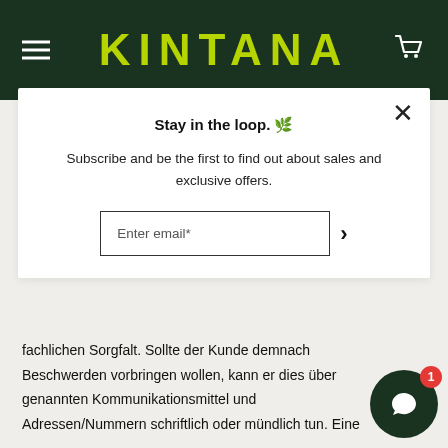KINTANA
Stay in the loop. 🌿
Subscribe and be the first to find out about sales and exclusive offers.
Enter email*
fachlichen Sorgfalt. Sollte der Kunde demnach Beschwerden vorbringen wollen, kann er dies über genannten Kommunikationsmittel und Adressen/Nummern schriftlich oder mündlich tun. Eine